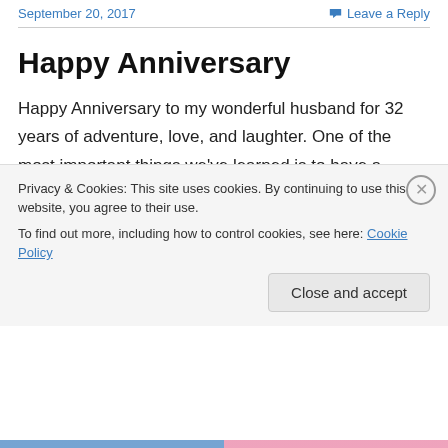September 20, 2017    Leave a Reply
Happy Anniversary
Happy Anniversary to my wonderful husband for 32 years of adventure, love, and laughter. One of the most important things we've learned is to have a sense of humor. After our wedding in Alberta, Canada, we were driving down to Sam's parent's house in California, when we noticed smoke billowing out of the trunk. We pulled over to the side of the road to find out what was going on
Privacy & Cookies: This site uses cookies. By continuing to use this website, you agree to their use.
To find out more, including how to control cookies, see here: Cookie Policy
Close and accept